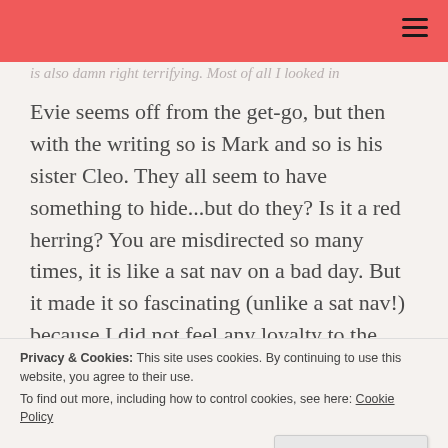is also damn right terrifying. Most of all I looked in
Evie seems off from the get-go, but then with the writing so is Mark and so is his sister Cleo. They all seem to have something to hide…but do they? Is it a red herring? You are misdirected so many times, it is like a sat nav on a bad day. But it made it so fascinating (unlike a sat nav!) because I did not feel any loyalty to the characters as I could not see any redeeming qualities, so I sat back and watched
Privacy & Cookies: This site uses cookies. By continuing to use this website, you agree to their use.
To find out more, including how to control cookies, see here: Cookie Policy
Close and accept
Stephanie, we learn a bit about her but also her